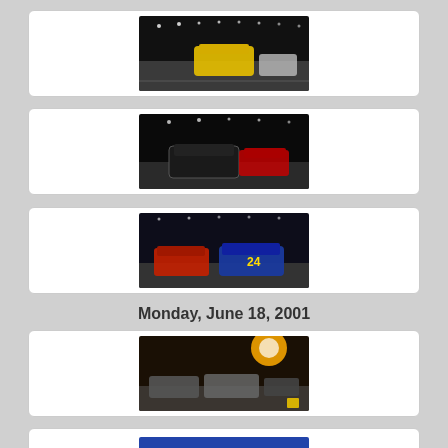[Figure (photo): NASCAR racing cars on track at night – yellow car prominent]
[Figure (photo): NASCAR racing cars on track at night – dark car in foreground]
[Figure (photo): NASCAR racing cars on track – car #24 visible in blue]
Monday, June 18, 2001
[Figure (photo): NASCAR racing cars on track at dusk/sunset with bright light]
[Figure (photo): NASCAR racing cars partially visible at bottom of page]